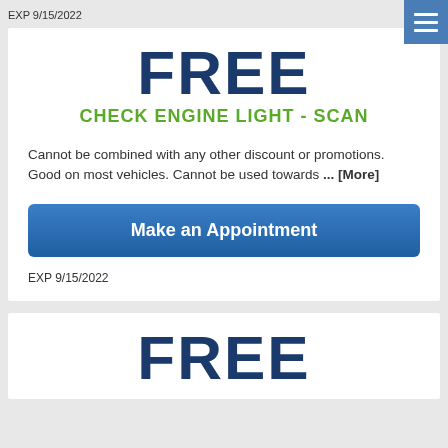EXP 9/15/2022
FREE
CHECK ENGINE LIGHT - SCAN
Cannot be combined with any other discount or promotions. Good on most vehicles. Cannot be used towards ... [More]
Make an Appointment
EXP 9/15/2022
FREE